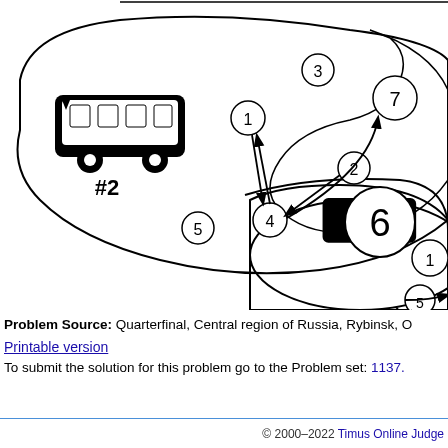[Figure (illustration): Diagram showing a bus route network with two buses labeled #2 and #3, numbered circles (1-7) as stops, arrows indicating directions between stops, and curved boundaries representing routes or zones. Bus #2 is in the upper left area with circles labeled 1,2,3,4,5,7 and directional arrows. Bus #3 is in the lower right area with circles labeled 6,1,5.]
Problem Source: Quarterfinal, Central region of Russia, Rybinsk, O
Printable version
To submit the solution for this problem go to the Problem set: 1137.
© 2000–2022 Timus Online Judge